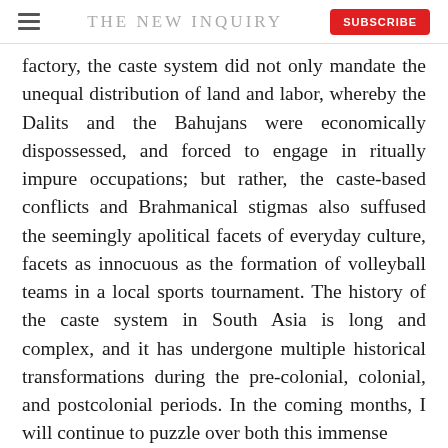THE NEW INQUIRY
factory, the caste system did not only mandate the unequal distribution of land and labor, whereby the Dalits and the Bahujans were economically dispossessed, and forced to engage in ritually impure occupations; but rather, the caste-based conflicts and Brahmanical stigmas also suffused the seemingly apolitical facets of everyday culture, facets as innocuous as the formation of volleyball teams in a local sports tournament. The history of the caste system in South Asia is long and complex, and it has undergone multiple historical transformations during the pre-colonial, colonial, and postcolonial periods. In the coming months, I will continue to puzzle over both this immense